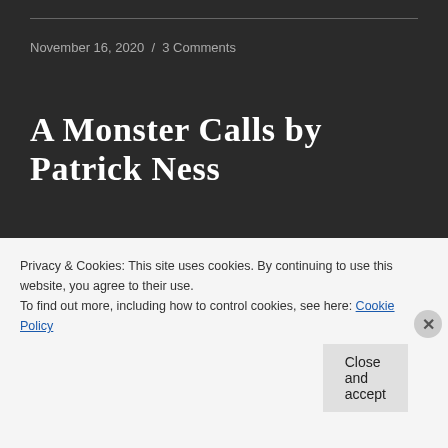November 16, 2020 / 3 Comments
A Monster Calls by Patrick Ness
[Figure (photo): Book cover of A Monster Calls showing night sky with bare tree branches silhouetted against moonlit blue sky, with a 'WINNER CILIP CARNEGIE MEDAL' badge]
I was for a long time reluctant to read this book though I've
Privacy & Cookies: This site uses cookies. By continuing to use this website, you agree to their use.
To find out more, including how to control cookies, see here: Cookie Policy
Close and accept